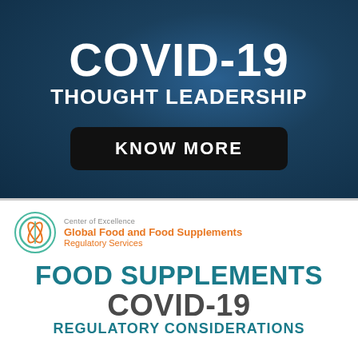[Figure (infographic): Dark blue textured banner with white bold text reading COVID-19 THOUGHT LEADERSHIP and a black rounded button labeled KNOW MORE]
[Figure (logo): Global Food and Food Supplements Regulatory Services logo - circular emblem with orange and teal branding text]
FOOD SUPPLEMENTS COVID-19 REGULATORY CONSIDERATIONS